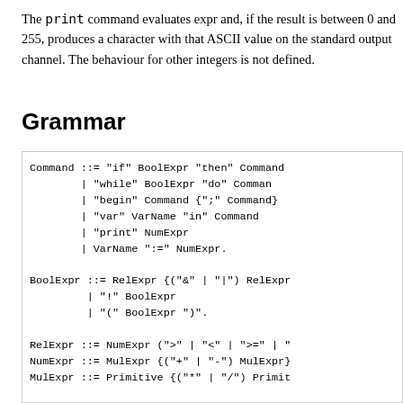The print command evaluates expr and, if the result is between 0 and 255, produces a character with that ASCII value on the standard output channel. The behaviour for other integers is not defined.
Grammar
Command ::= "if" BoolExpr "then" Command
           | "while" BoolExpr "do" Command
           | "begin" Command {";" Command}
           | "var" VarName "in" Command
           | "print" NumExpr
           | VarName ":=" NumExpr.

BoolExpr ::= RelExpr {("&" | "|") RelExpr
           | "!" BoolExpr
           | "(" BoolExpr ")".

RelExpr ::= NumExpr (">" | "<" | ">=" | "
NumExpr ::= MulExpr {("+" | "-") MulExpr}
MulExpr ::= Primitive {("*" | "/") Primit

Primitive ::= "(" NumExpr ")"
           | "if" BoolExpr "then" NumExpr